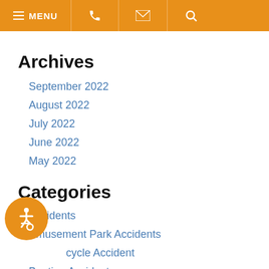MENU | phone | email | search
Archives
September 2022
August 2022
July 2022
June 2022
May 2022
Categories
Accidents
Amusement Park Accidents
Bicycle Accident
Boating Accident
Camp Lejeune
[Figure (illustration): Orange circular accessibility badge with wheelchair icon]